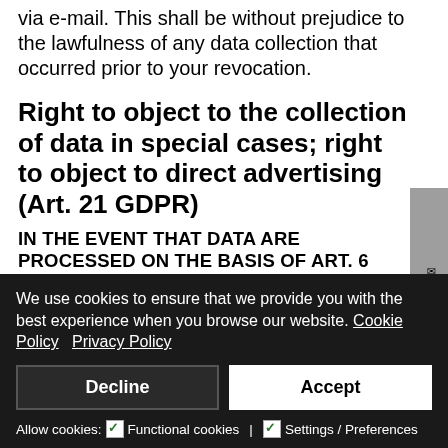via e-mail. This shall be without prejudice to the lawfulness of any data collection that occurred prior to your revocation.
Right to object to the collection of data in special cases; right to object to direct advertising (Art. 21 GDPR)
IN THE EVENT THAT DATA ARE PROCESSED ON THE BASIS OF ART. 6 SECT. 1 LIT. E OR F GDPR, YOU HAVE THE RIGHT TO AT ANY TIME OBJECT TO THE PROCESSING OF YOUR PERSONAL DATA BASED ON GROUNDS ARISING FROM
[Figure (other): Gray sidebar with rotated text reading '0261/9114408 • [envelope icon]']
We use cookies to ensure that we provide you with the best experience when you browse our website. Cookie Policy  Privacy Policy
Decline
Accept
Allow cookies:
Functional cookies | Settings / Preferences